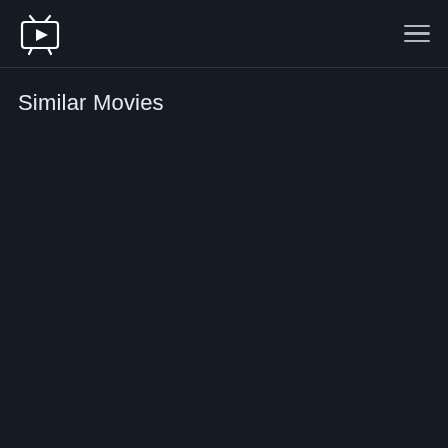[TV streaming app logo] [hamburger menu]
Similar Movies